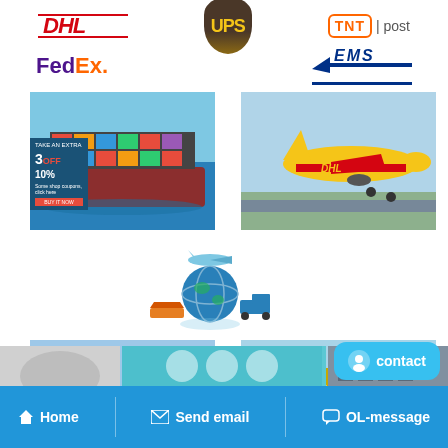[Figure (logo): DHL logo - red stylized text with double lines]
[Figure (logo): UPS logo - brown shield with yellow UPS text]
[Figure (logo): TNT post logo - orange bordered TNT with post text]
[Figure (logo): FedEx logo - purple and orange text]
[Figure (logo): EMS logo - dark blue italic letters]
[Figure (photo): Container cargo ship at sea with colorful stacked containers and a 3 OFF 10% discount badge overlay]
[Figure (photo): DHL branded yellow cargo airplane taking off from airport runway]
[Figure (illustration): Global logistics concept: airplane, globe, ship, truck arrangement in center]
[Figure (photo): Red freight train locomotive pulling long line of railway cars]
[Figure (photo): OYAWT branded blue and yellow logistics truck]
[Figure (other): Partial bottom row of three images cut off]
[Figure (other): Contact button with smiley icon]
Home   Send email   OL-message